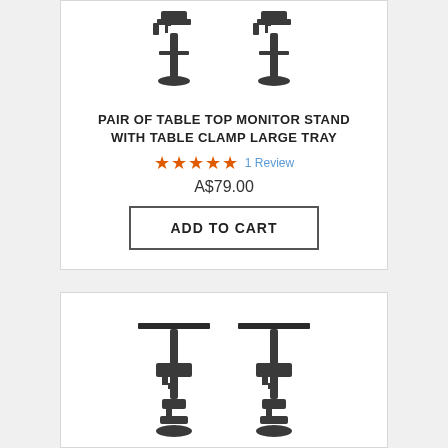[Figure (photo): Two table top monitor stands with table clamp large tray, shown side by side as product images]
PAIR OF TABLE TOP MONITOR STAND WITH TABLE CLAMP LARGE TRAY
★★★★★ 1 Review
A$79.00
ADD TO CART
[Figure (photo): Two table top monitor stands shown side by side as product images, lower product card]